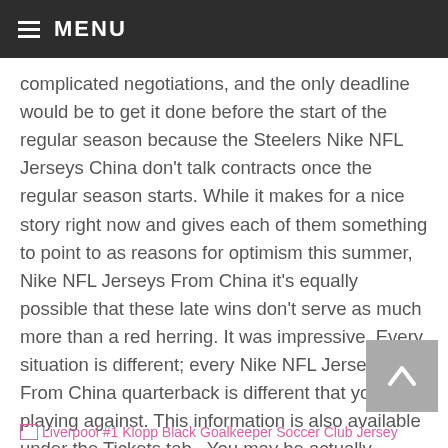≡ MENU
complicated negotiations, and the only deadline would be to get it done before the start of the regular season because the Steelers Nike NFL Jerseys China don't talk contracts once the regular season starts. While it makes for a nice story right now and gives each of them something to point to as reasons for optimism this summer, Nike NFL Jerseys From China it's equally possible that these late wins don't serve as much more than a red herring. It was impressive. Every situation is different; every Nike NFL Jerseys From China quarterback is different that you're playing against. This information is also available under the Tickets tab.. You may be actually driving yourself deeper into a low-energy rut. It's baby steps, said Price, who entered the night 0 in 10 career playoff starts.
[Figure (other): Broken image icon followed by link text: Liverpool #1 Klopp Black Goalkeeper Soccer Club Jersey]